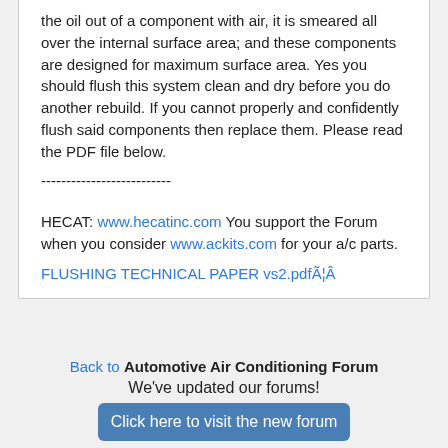the oil out of a component with air, it is smeared all over the internal surface area; and these components are designed for maximum surface area. Yes you should flush this system clean and dry before you do another rebuild. If you cannot properly and confidently flush said components then replace them. Please read the PDF file below.
--------------------------
HECAT: www.hecatinc.com You support the Forum when you consider www.ackits.com for your a/c parts.
FLUSHING TECHNICAL PAPER vs2.pdfÃ¦Â
Back to Automotive Air Conditioning Forum
We've updated our forums!
Click here to visit the new forum
Archive Home